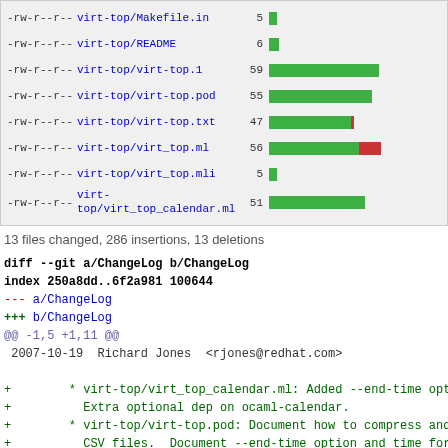[Figure (bar-chart): Git diff file change stats]
13 files changed, 286 insertions, 13 deletions
diff --git a/ChangeLog b/ChangeLog
index 250a8dd..6f2a981 100644
--- a/ChangeLog
+++ b/ChangeLog
@@ -1,5 +1,11 @@
 2007-10-19  Richard Jones  <rjones@redhat.com>

+        * virt-top/virt_top_calendar.ml: Added --end-time opt
+          Extra optional dep on ocaml-calendar.
+        * virt-top/virt-top.pod: Document how to compress and
+          CSV files.  Document --end-time option and time for